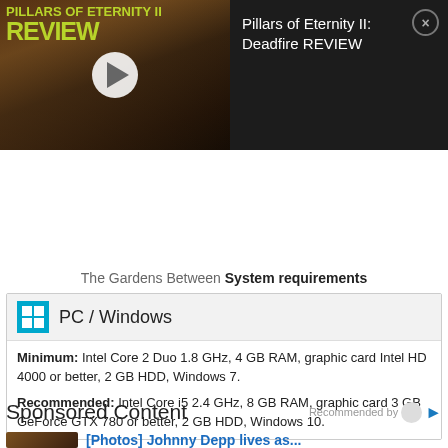[Figure (screenshot): Video thumbnail for Pillars of Eternity II: Deadfire REVIEW with play button overlay, showing game characters. Next to it is a dark panel with the title 'Pillars of Eternity II: Deadfire REVIEW' and a close button.]
The Gardens Between System requirements
PC / Windows
Minimum: Intel Core 2 Duo 1.8 GHz, 4 GB RAM, graphic card Intel HD 4000 or better, 2 GB HDD, Windows 7.
Recommended: Intel Core i5 2.4 GHz, 8 GB RAM, graphic card 3 GB GeForce GTX 780 or better, 2 GB HDD, Windows 10.
Sponsored Content
Recommended by
[Photos] Johnny Depp lives as...